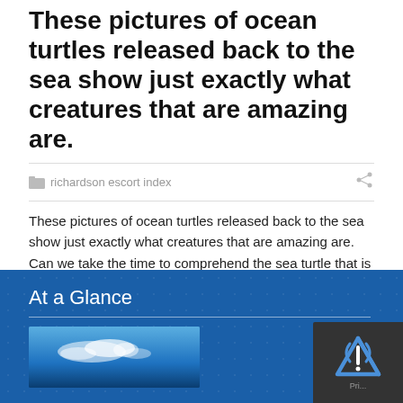These pictures of ocean turtles released back to the sea show just exactly what creatures that are amazing are.
richardson escort index
These pictures of ocean turtles released back to the sea show just exactly what creatures that are amazing are. Can we take the time to comprehend the sea turtle that is majestic? Because on Sept. 16, 2015, marine police in Indonesia rescued 45 turtles from unlawful poachers. Picture by Agung Parameswara/Getty Pictures. The World Wildlife [...]
Read More
At a Glance
[Figure (photo): Blue sky with clouds thumbnail image at the bottom of the page]